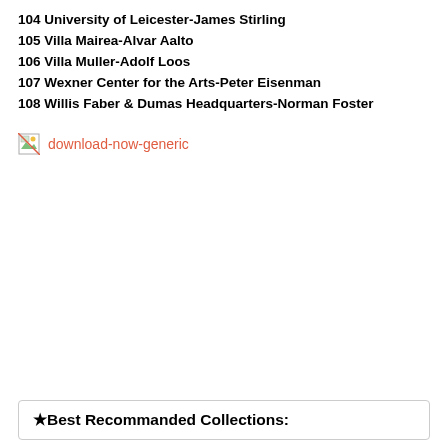104 University of Leicester-James Stirling
105 Villa Mairea-Alvar Aalto
106 Villa Muller-Adolf Loos
107 Wexner Center for the Arts-Peter Eisenman
108 Willis Faber & Dumas Headquarters-Norman Foster
[Figure (other): Broken image placeholder with alt text 'download-now-generic' shown in red text beside a small broken image icon]
★Best Recommanded Collections: